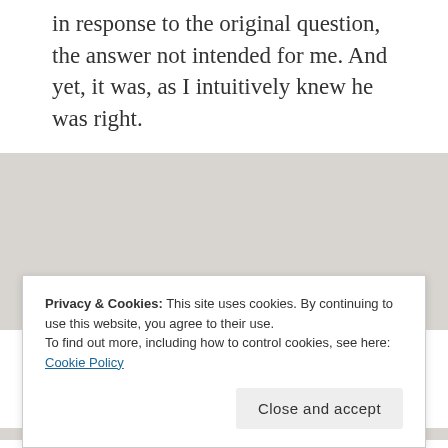in response to the original question, the answer not intended for me. And yet, it was, as I intuitively knew he was right.
Advertisements
[Figure (other): Advertisement box with beige background showing WordPress logo and text 'Professionally designed sites in less than a week']
I had been an avid journal-er in my
Privacy & Cookies: This site uses cookies. By continuing to use this website, you agree to their use.
To find out more, including how to control cookies, see here: Cookie Policy